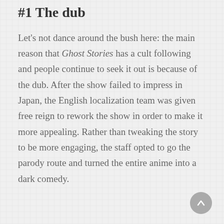#1 The dub
Let's not dance around the bush here: the main reason that Ghost Stories has a cult following and people continue to seek it out is because of the dub. After the show failed to impress in Japan, the English localization team was given free reign to rework the show in order to make it more appealing. Rather than tweaking the story to be more engaging, the staff opted to go the parody route and turned the entire anime into a dark comedy.